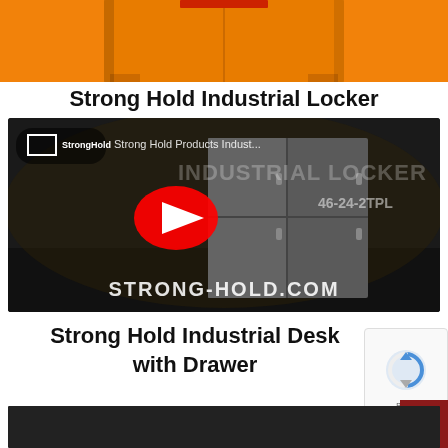[Figure (photo): Partial view of an orange/yellow industrial cabinet or locker, cropped at top]
Strong Hold Industrial Locker
[Figure (screenshot): YouTube video thumbnail for Strong Hold Products Industrial Locker 46-24-2TPL video, showing a gray metal locker in an industrial warehouse with YouTube play button overlay and STRONG-HOLD.COM text at bottom]
Strong Hold Industrial Desk with Drawer
[Figure (screenshot): Partial bottom edge of another video thumbnail, dark background]